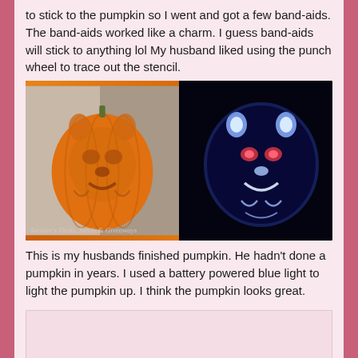to stick to the pumpkin so I went and got a few band-aids. The band-aids worked like a charm. I guess band-aids will stick to anything lol My husband liked using the punch wheel to trace out the stencil.
[Figure (photo): Two side-by-side photos of a carved pumpkin: left shows the pumpkin in daylight with a cartoon character (Tigger) carved into it, right shows the same pumpkin lit up with a blue light in the dark revealing the carving design. A watermark reads 'Saralee's Deals, Steals & Giveaways']
This is my husbands finished pumpkin. He hadn't done a pumpkin in years. I used a battery powered blue light to light the pumpkin up. I think the pumpkin looks great.